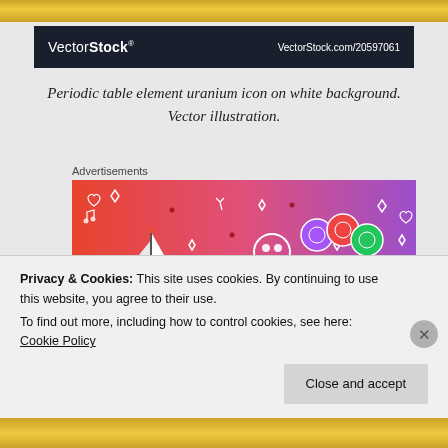[Figure (other): Gold decorative bar at the top of the page]
VectorStock® — VectorStock.com/20597061
Periodic table element uranium icon on white background. Vector illustration.
Advertisements
[Figure (illustration): Colorful advertisement image with gradient background (orange to purple) featuring 'FANDOM ON' text and various cartoon icons including a sailboat, skulls, gems, music notes, and other decorative doodles. Tumblr branding visible at bottom.]
Privacy & Cookies: This site uses cookies. By continuing to use this website, you agree to their use.
To find out more, including how to control cookies, see here: Cookie Policy
Close and accept